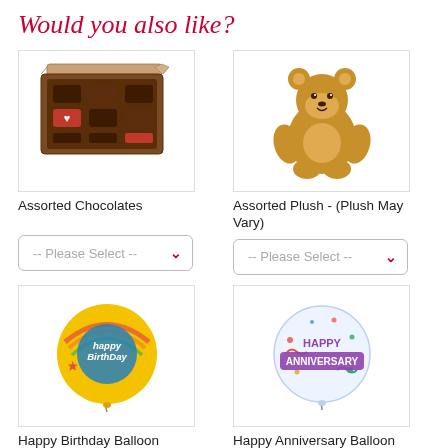Would you also like?
[Figure (illustration): Assorted Chocolates: open brown chocolate box with assorted chocolates inside]
Assorted Chocolates
[Figure (illustration): Assorted Plush: brown teddy bear sitting]
Assorted Plush - (Plush May Vary)
[Figure (illustration): Happy Birthday Balloon: round colorful balloon with 'Happy Birthday' text]
Happy Birthday Balloon
[Figure (illustration): Happy Anniversary Balloon: round clear balloon with 'Happy Anniversary' text and confetti design]
Happy Anniversary Balloon